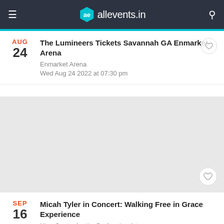allevents.in
AUG 24 — The Lumineers Tickets Savannah GA Enmarket Arena
Enmarket Arena
Wed Aug 24 2022 at 07:30 pm
[Figure (photo): Gray placeholder image for event card]
SEP 16 — Micah Tyler in Concert: Walking Free in Grace Experience
King Center for the Performing Arts